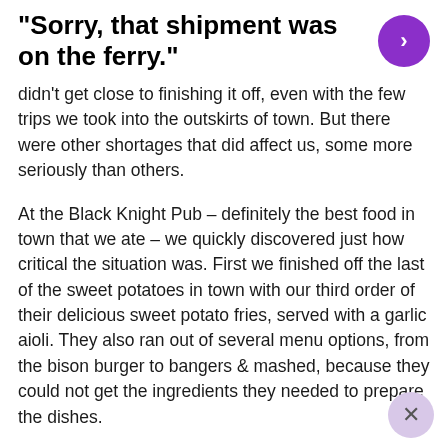“Sorry, that shipment was on the ferry.”
didn’t get close to finishing it off, even with the few trips we took into the outskirts of town. But there were other shortages that did affect us, some more seriously than others.
At the Black Knight Pub – definitely the best food in town that we ate – we quickly discovered just how critical the situation was. First we finished off the last of the sweet potatoes in town with our third order of their delicious sweet potato fries, served with a garlic aioli. They also ran out of several menu options, from the bison burger to bangers & mashed, because they could not get the ingredients they needed to prepare the dishes.
Then we started to run out of beer options. One by one we watched at taps ran dry at the Black Knight and other watering holes around town. Fortunately enough taps